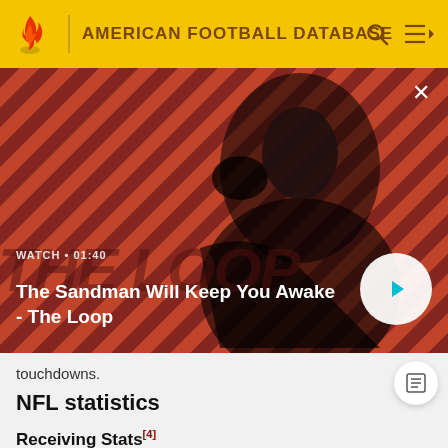AMERICAN FOOTBALL DATABASE
[Figure (screenshot): Video banner with diagonal red/dark stripe background, figure of dark-clothed person with bird. Title: 'The Sandman Will Keep You Awake - The Loop'. WATCH • 01:40 label. Play button overlay.]
touchdowns.
NFL statistics
Receiving Stats[4]
|  |